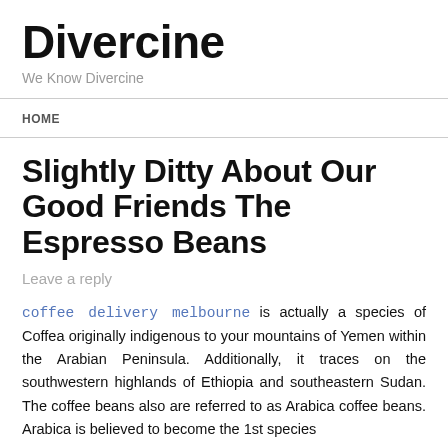Divercine
We Know Divercine
HOME
Slightly Ditty About Our Good Friends The Espresso Beans
Leave a reply
coffee delivery melbourne is actually a species of Coffea originally indigenous to your mountains of Yemen within the Arabian Peninsula. Additionally, it traces on the southwestern highlands of Ethiopia and southeastern Sudan. The coffee beans also are referred to as Arabica coffee beans. Arabica is believed to become the 1st species